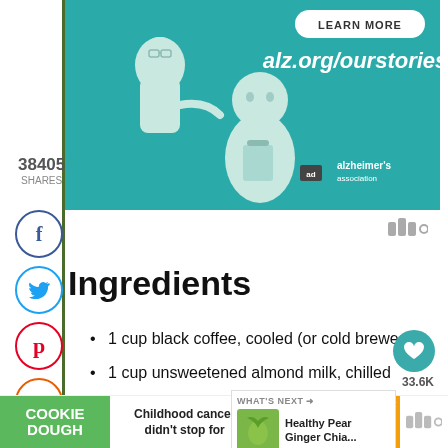[Figure (illustration): Alzheimer's Association advertisement banner with teal background showing illustrated elderly man and younger person/caregiver, with 'LEARN MORE' button, 'alz.org/ourstories' URL, and alzheimer's association logo]
38405
SHARES
[Figure (infographic): Social share buttons sidebar with Facebook (blue circle), Twitter (cyan circle), Pinterest (red circle), share (orange circle), and save (orange circle) buttons]
[Figure (other): Wunderkind widget icon (three vertical bars with circle)]
Ingredients
1 cup black coffee, cooled (or cold brewed)
1 cup unsweetened almond milk, chilled
½ cup rolled oats
1 banana, peeled (fresh or frozen)
[Figure (infographic): Heart save button (teal circle) with 33.6K count and share icon below]
[Figure (infographic): What's Next widget showing 'Healthy Pear Ginger Chia...' with green pear image thumbnail]
[Figure (infographic): Cookie Dough / cookies for kids cancer bottom advertisement banner: 'Childhood cancer didn't stop for COVID-19. GET BAKING']